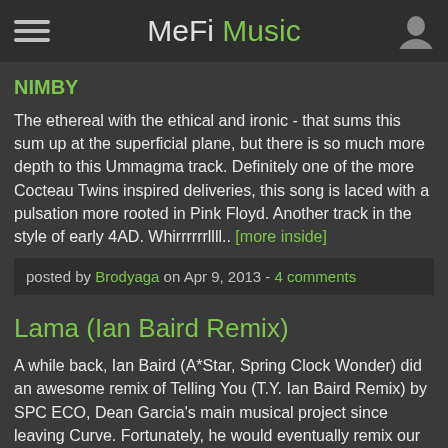MeFi Music
NIMBY
The ethereal with the ethical and ironic - that sums this sum up at the superficial plane, but there is so much more depth to this Ummagma track. Definitely one of the more Cocteau Twins inspired deliveries, this song is laced with a pulsation more rooted in Pink Floyd. Another track in the style of early 4AD. Whirrrrrrllll.. [more inside]
posted by Brodyaga on Apr 9, 2013 - 4 comments
Lama (Ian Baird Remix)
A while back, Ian Baird (A*Star, Spring Clock Wonder) did an awesome remix of Telling You (T.Y. Ian Baird Remix) by SPC ECO, Dean Garcia's main musical project since leaving Curve. Fortunately, he would eventually remix our song "Lama" by our duo Ummagma. Hope you enjoy this upbeat